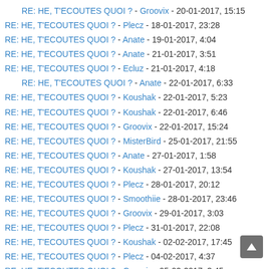RE: HE, T'ECOUTES QUOI ? - Groovix - 20-01-2017, 15:15
RE: HE, T'ECOUTES QUOI ? - Plecz - 18-01-2017, 23:28
RE: HE, T'ECOUTES QUOI ? - Anate - 19-01-2017, 4:04
RE: HE, T'ECOUTES QUOI ? - Anate - 21-01-2017, 3:51
RE: HE, T'ECOUTES QUOI ? - Ecluz - 21-01-2017, 4:18
RE: HE, T'ECOUTES QUOI ? - Anate - 22-01-2017, 6:33
RE: HE, T'ECOUTES QUOI ? - Koushak - 22-01-2017, 5:23
RE: HE, T'ECOUTES QUOI ? - Koushak - 22-01-2017, 6:46
RE: HE, T'ECOUTES QUOI ? - Groovix - 22-01-2017, 15:24
RE: HE, T'ECOUTES QUOI ? - MisterBird - 25-01-2017, 21:55
RE: HE, T'ECOUTES QUOI ? - Anate - 27-01-2017, 1:58
RE: HE, T'ECOUTES QUOI ? - Koushak - 27-01-2017, 13:54
RE: HE, T'ECOUTES QUOI ? - Plecz - 28-01-2017, 20:12
RE: HE, T'ECOUTES QUOI ? - Smoothiie - 28-01-2017, 23:46
RE: HE, T'ECOUTES QUOI ? - Groovix - 29-01-2017, 3:03
RE: HE, T'ECOUTES QUOI ? - Plecz - 31-01-2017, 22:08
RE: HE, T'ECOUTES QUOI ? - Koushak - 02-02-2017, 17:45
RE: HE, T'ECOUTES QUOI ? - Plecz - 04-02-2017, 4:37
RE: HE, T'ECOUTES QUOI ? - Groovix - 05-02-2017, 3:45
RE: HE, T'ECOUTES QUOI ? - Plecz - 07-02-2017, 0:17
RE: HE, T'ECOUTES QUOI ? - Batman - 09-02-2017, 23:43
RE: HE, T'ECOUTES QUOI ? - Koushak - 10-02-2017, 0:01